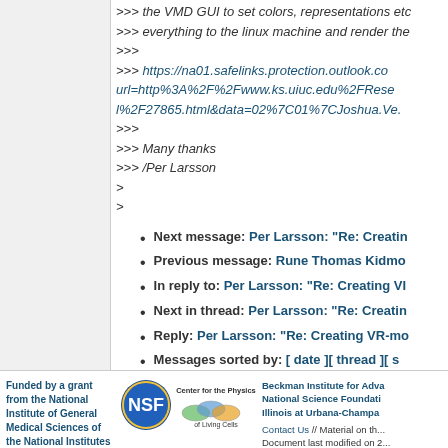>>> the VMD GUI to set colors, representations etc.
>>> everything to the linux machine and render the
>>>
>>> https://na01.safelinks.protection.outlook.co... url=http%3A%2F%2Fwww.ks.uiuc.edu%2FResearch%2F...l%2F27865.html&data=02%7C01%7CJoshua.Ve...
>>>
>>> Many thanks
>>> /Per Larsson
>
>
Next message: Per Larsson: "Re: Creating VR-...
Previous message: Rune Thomas Kidmo...
In reply to: Per Larsson: "Re: Creating VR-...
Next in thread: Per Larsson: "Re: Creatin...
Reply: Per Larsson: "Re: Creating VR-mo...
Messages sorted by: [ date ] [ thread ] [ s...
Funded by a grant from the National Institute of General Medical Sciences of the National Institutes of Health | Beckman Institute for Advanced Science... National Science Foundation... Illinois at Urbana-Champaign... Contact Us // Material on th... Document last modified on 2...